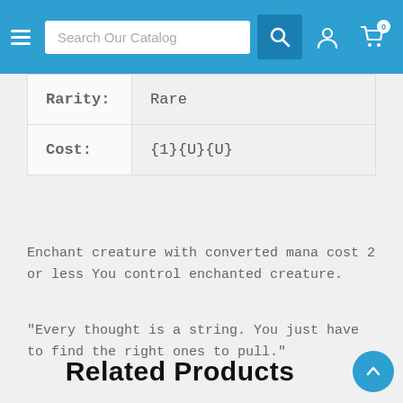Search Our Catalog
| Field | Value |
| --- | --- |
| Rarity: | Rare |
| Cost: | {1}{U}{U} |
Enchant creature with converted mana cost 2 or less You control enchanted creature.
"Every thought is a string. You just have to find the right ones to pull."
Related Products